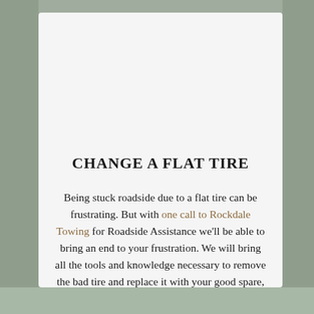[Figure (illustration): White silhouette illustration of a person kneeling beside a car with the trunk open, changing a flat tire, on a grey-green background]
CHANGE A FLAT TIRE
Being stuck roadside due to a flat tire can be frustrating. But with one call to Rockdale Towing for Roadside Assistance we'll be able to bring an end to your frustration. We will bring all the tools and knowledge necessary to remove the bad tire and replace it with your good spare, to get you back on your way